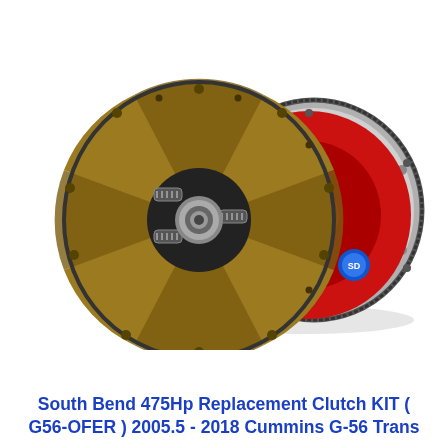[Figure (photo): Product photo of a South Bend clutch kit showing a clutch disc and pressure plate/flywheel assembly. The clutch disc is brown/tan with spring dampeners visible at the center hub. The pressure plate is red with a silver flywheel behind it. Components are arranged overlapping each other on a white background.]
South Bend 475Hp Replacement Clutch KIT ( G56-OFER ) 2005.5 - 2018 Cummins G-56 Trans